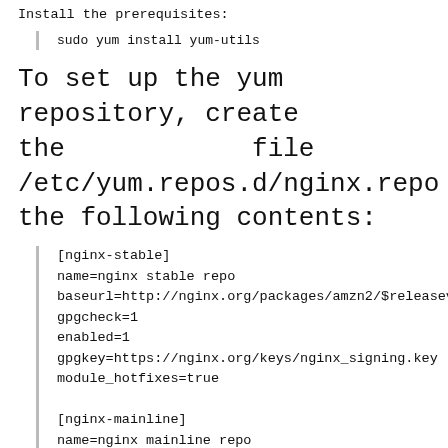Install the prerequisites:
sudo yum install yum-utils
To set up the yum repository, create the file named /etc/yum.repos.d/nginx.repo with the following contents:
[nginx-stable]
name=nginx stable repo
baseurl=http://nginx.org/packages/amzn2/$releasever
gpgcheck=1
enabled=1
gpgkey=https://nginx.org/keys/nginx_signing.key
module_hotfixes=true

[nginx-mainline]
name=nginx mainline repo
baseurl=http://nginx.org/packages/mainline/amzn2/$r
gpgcheck=1
enabled=0
gpgkey=https://nginx.org/keys/nginx_signing.key
module_hotfixes=true